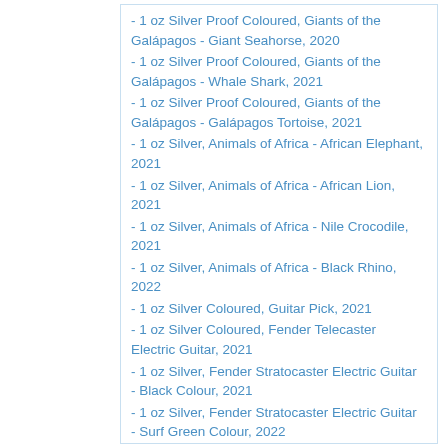- 1 oz Silver Proof Coloured, Giants of the Galápagos - Giant Seahorse, 2020
- 1 oz Silver Proof Coloured, Giants of the Galápagos - Whale Shark, 2021
- 1 oz Silver Proof Coloured, Giants of the Galápagos - Galápagos Tortoise, 2021
- 1 oz Silver, Animals of Africa - African Elephant, 2021
- 1 oz Silver, Animals of Africa - African Lion, 2021
- 1 oz Silver, Animals of Africa - Nile Crocodile, 2021
- 1 oz Silver, Animals of Africa - Black Rhino, 2022
- 1 oz Silver Coloured, Guitar Pick, 2021
- 1 oz Silver Coloured, Fender Telecaster Electric Guitar, 2021
- 1 oz Silver, Fender Stratocaster Electric Guitar - Black Colour, 2021
- 1 oz Silver, Fender Stratocaster Electric Guitar - Surf Green Colour, 2022
- 1 oz Silver, Nutcracker, 2021